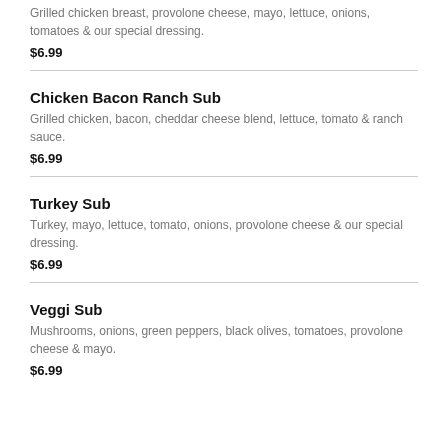Grilled chicken breast, provolone cheese, mayo, lettuce, onions, tomatoes & our special dressing.
$6.99
Chicken Bacon Ranch Sub
Grilled chicken, bacon, cheddar cheese blend, lettuce, tomato & ranch sauce.
$6.99
Turkey Sub
Turkey, mayo, lettuce, tomato, onions, provolone cheese & our special dressing.
$6.99
Veggi Sub
Mushrooms, onions, green peppers, black olives, tomatoes, provolone cheese & mayo.
$6.99